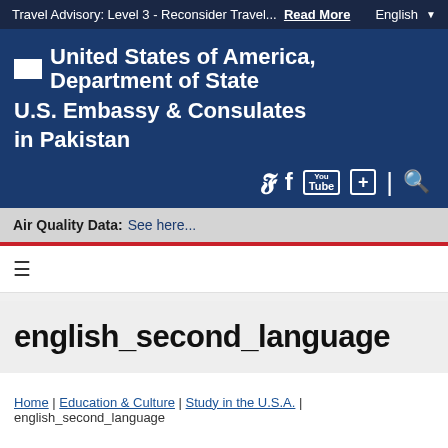Travel Advisory: Level 3 - Reconsider Travel... Read More | English
[Figure (logo): United States of America, Department of State seal/logo with U.S. Embassy & Consulates in Pakistan text and social media icons]
Air Quality Data: See here...
≡ (hamburger menu)
english_second_language
Home | Education & Culture | Study in the U.S.A. | english_second_language